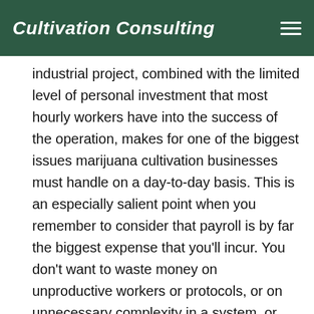Cultivation Consulting
industrial project, combined with the limited level of personal investment that most hourly workers have into the success of the operation, makes for one of the biggest issues marijuana cultivation businesses must handle on a day-to-day basis. This is an especially salient point when you remember to consider that payroll is by far the biggest expense that you'll incur. You don't want to waste money on unproductive workers or protocols, or on unnecessary complexity in a system, or lack of clarity in group communication.
Simplification of systems is a must, and managers will find themselves spending lots of time training and retraining site workers to get calibrated to the same standards and